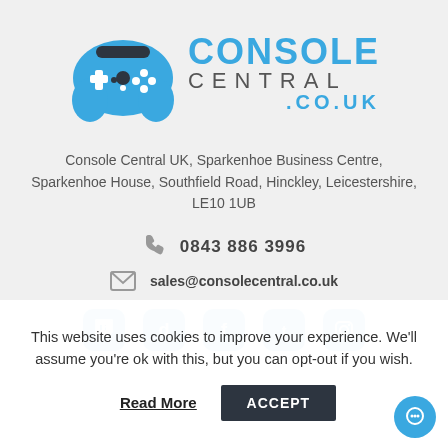[Figure (logo): Console Central UK logo with blue game controller icon and text CONSOLE CENTRAL .CO.UK]
Console Central UK, Sparkenhoe Business Centre, Sparkenhoe House, Southfield Road, Hinckley, Leicestershire, LE10 1UB
0843 886 3996
sales@consolecentral.co.uk
[Figure (illustration): Social media icons row: Twitch, Discord, Facebook, Twitter, Instagram]
This website uses cookies to improve your experience. We'll assume you're ok with this, but you can opt-out if you wish.
Read More
ACCEPT